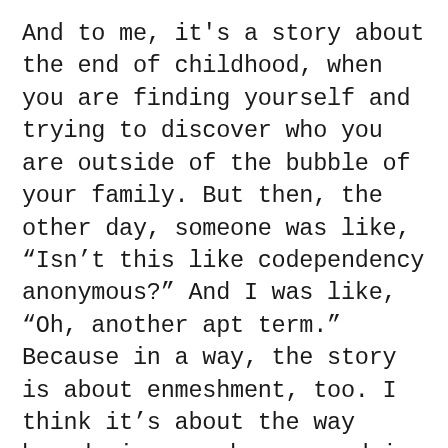And to me, it's a story about the end of childhood, when you are finding yourself and trying to discover who you are outside of the bubble of your family. But then, the other day, someone was like, “Isn’t this like codependency anonymous?” And I was like, “Oh, another apt term.” Because in a way, the story is about enmeshment, too. I think it’s about the way boundaries can be crossed in a family. This is not the experience of every CODA by any means, but I do think that particularly in deaf families, when they live in a small town and